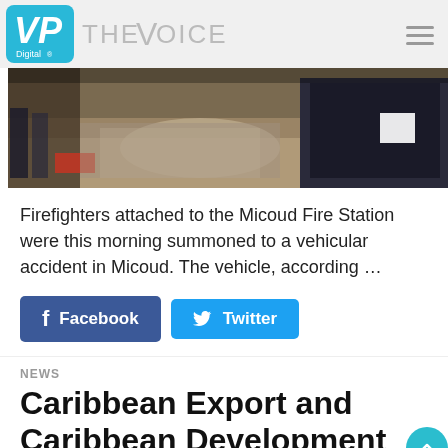VP Digital THE VOICE
[Figure (photo): Photograph showing firefighters responding to a vehicular accident in Micoud, with debris and an overturned vehicle visible]
Firefighters attached to the Micoud Fire Station were this morning summoned to a vehicular accident in Micoud. The vehicle, according …
Facebook  Twitter
NEWS
Caribbean Export and Caribbean Development